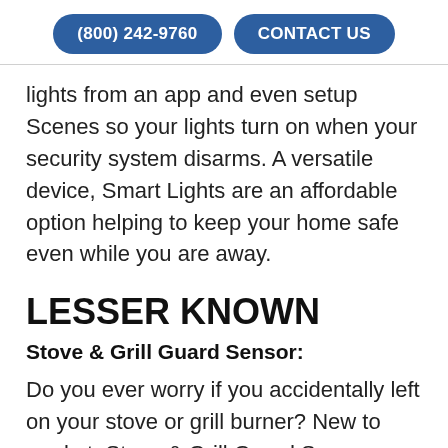(800) 242-9760  CONTACT US
lights from an app and even setup Scenes so your lights turn on when your security system disarms. A versatile device, Smart Lights are an affordable option helping to keep your home safe even while you are away.
LESSER KNOWN
Stove & Grill Guard Sensor:
Do you ever worry if you accidentally left on your stove or grill burner? New to market, Stove & Grill Guard Sensors help to protect against